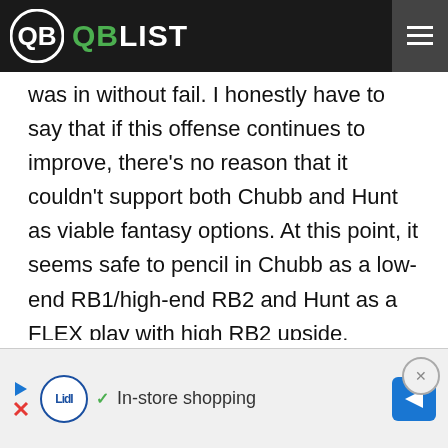QB LIST
was in without fail. I honestly have to say that if this offense continues to improve, there’s no reason that it couldn’t support both Chubb and Hunt as viable fantasy options. At this point, it seems safe to pencil in Chubb as a low-end RB1/high-end RB2 and Hunt as a FLEX play with high RB2 upside, depending on how touches will be distributed in the coming weeks. You’d have to imagine a negative game-script for running the ball will help Hunt and hurt Chubb. Also worth noting, Cleveland’s waiving of WR Antonio Calloway increases the likelihood of more…
[Figure (other): Advertisement banner for Lidl in-store shopping with play button, Lidl logo, checkmark, text and navigation arrow button]